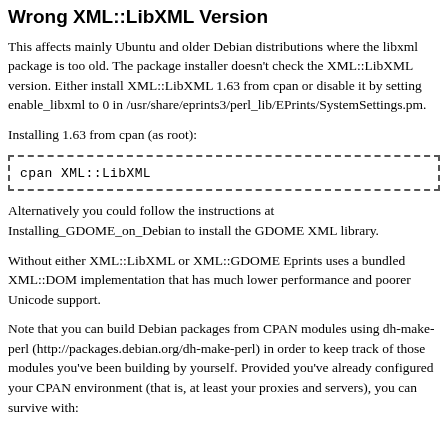Wrong XML::LibXML Version
This affects mainly Ubuntu and older Debian distributions where the libxml package is too old. The package installer doesn't check the XML::LibXML version. Either install XML::LibXML 1.63 from cpan or disable it by setting enable_libxml to 0 in /usr/share/eprints3/perl_lib/EPrints/SystemSettings.pm.
Installing 1.63 from cpan (as root):
cpan XML::LibXML
Alternatively you could follow the instructions at Installing_GDOME_on_Debian to install the GDOME XML library.
Without either XML::LibXML or XML::GDOME Eprints uses a bundled XML::DOM implementation that has much lower performance and poorer Unicode support.
Note that you can build Debian packages from CPAN modules using dh-make-perl (http://packages.debian.org/dh-make-perl) in order to keep track of those modules you've been building by yourself. Provided you've already configured your CPAN environment (that is, at least your proxies and servers), you can survive with: